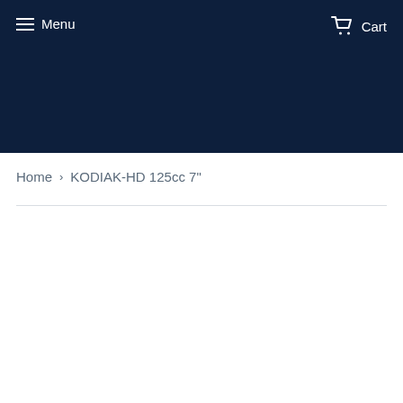Menu  Cart
Home › KODIAK-HD 125cc 7"